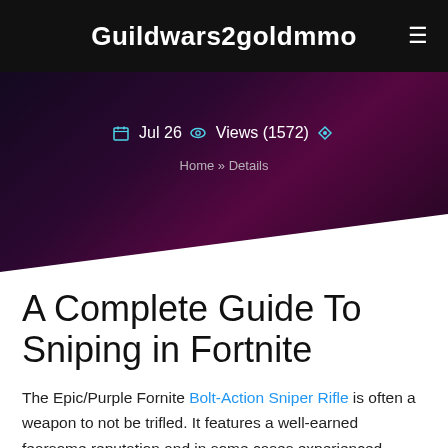Guildwars2goldmmo
Jul 26  Views (1572)
Home » Details
A Complete Guide To Sniping in Fortnite
The Epic/Purple Fornite Bolt-Action Sniper Rifle is often a weapon to not be trifled. It features a well-earned fearsome reputation and in some cases experienced players will dread fighting an opponent who has a single. The more state of it come that we allocate to be some